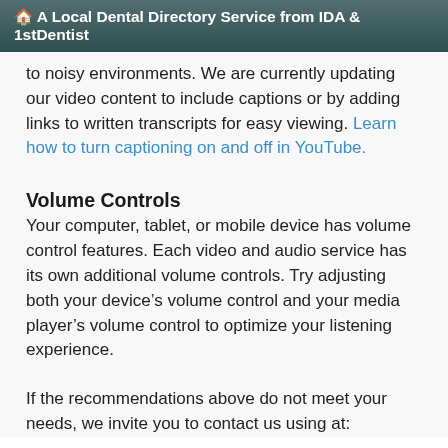🏠 A Local Dental Directory Service from IDA & 1stDentist
to noisy environments. We are currently updating our video content to include captions or by adding links to written transcripts for easy viewing. Learn how to turn captioning on and off in YouTube.
Volume Controls
Your computer, tablet, or mobile device has volume control features. Each video and audio service has its own additional volume controls. Try adjusting both your device's volume control and your media player's volume control to optimize your listening experience.
If the recommendations above do not meet your needs, we invite you to contact us using at: